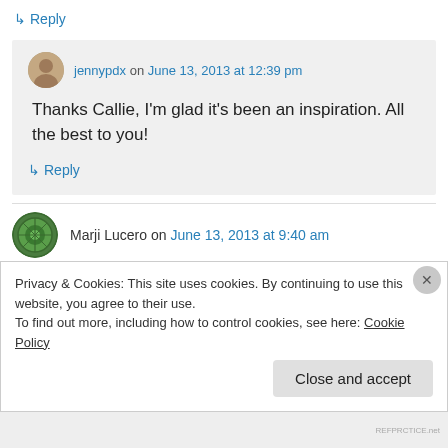↳ Reply
jennypdx on June 13, 2013 at 12:39 pm
Thanks Callie, I'm glad it's been an inspiration. All the best to you!
↳ Reply
Marji Lucero on June 13, 2013 at 9:40 am
Privacy & Cookies: This site uses cookies. By continuing to use this website, you agree to their use.
To find out more, including how to control cookies, see here: Cookie Policy
Close and accept